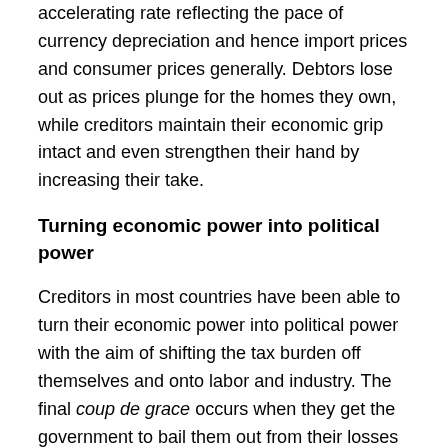accelerating rate reflecting the pace of currency depreciation and hence import prices and consumer prices generally. Debtors lose out as prices plunge for the homes they own, while creditors maintain their economic grip intact and even strengthen their hand by increasing their take.
Turning economic power into political power
Creditors in most countries have been able to turn their economic power into political power with the aim of shifting the tax burden off themselves and onto labor and industry. The final coup de grace occurs when they get the government to bail them out from their losses on bad loans. In the United States, Congress has tripled the national debt in less than a year to bail out creditors with little thought of helping debtors, or even of prosecuting the